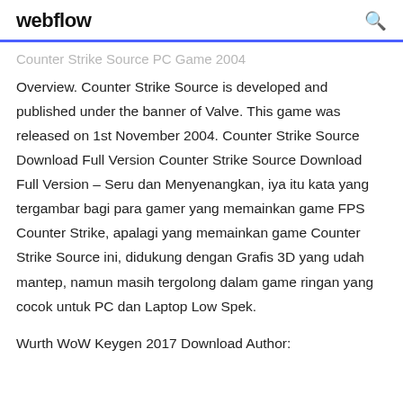webflow
Counter Strike Source PC Game 2004
Overview. Counter Strike Source is developed and published under the banner of Valve. This game was released on 1st November 2004. Counter Strike Source Download Full Version Counter Strike Source Download Full Version – Seru dan Menyenangkan, iya itu kata yang tergambar bagi para gamer yang memainkan game FPS Counter Strike, apalagi yang memainkan game Counter Strike Source ini, didukung dengan Grafis 3D yang udah mantep, namun masih tergolong dalam game ringan yang cocok untuk PC dan Laptop Low Spek.
Wurth WoW Keygen 2017 Download Author: